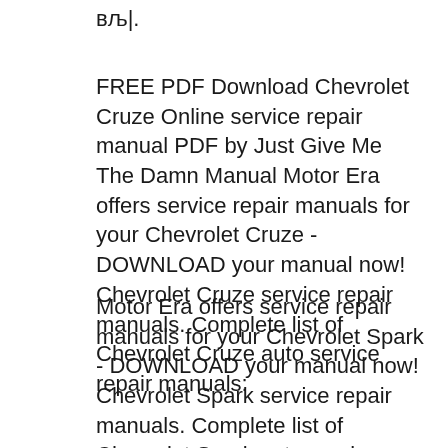в…|.
FREE PDF Download Chevrolet Cruze Online service repair manual PDF by Just Give Me The Damn Manual Motor Era offers service repair manuals for your Chevrolet Cruze - DOWNLOAD your manual now! Chevrolet Cruze service repair manuals. Complete list of Chevrolet Cruze auto service repair manuals:
Motor Era offers service repair manuals for your Chevrolet Spark - DOWNLOAD your manual now! Chevrolet Spark service repair manuals. Complete list of Chevrolet Spark auto service repair manuals: Chevrolet Suburban 2000-